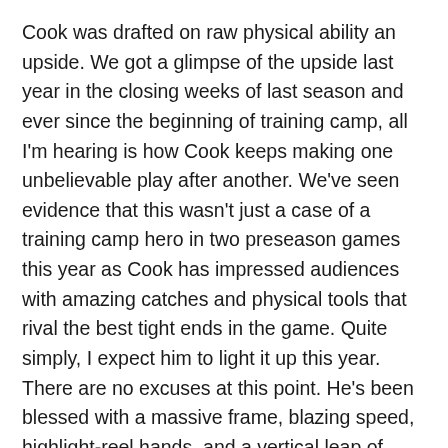Cook was drafted on raw physical ability an upside. We got a glimpse of the upside last year in the closing weeks of last season and ever since the beginning of training camp, all I'm hearing is how Cook keeps making one unbelievable play after another. We've seen evidence that this wasn't just a case of a training camp hero in two preseason games this year as Cook has impressed audiences with amazing catches and physical tools that rival the best tight ends in the game. Quite simply, I expect him to light it up this year. There are no excuses at this point. He's been blessed with a massive frame, blazing speed, highlight-reel hands, and a vertical leap of nearly 45 inches. Nothing should stand in his way of dominating over the middle, but in a league that's populated only by freakish athletes, what can he do to set himself apart?